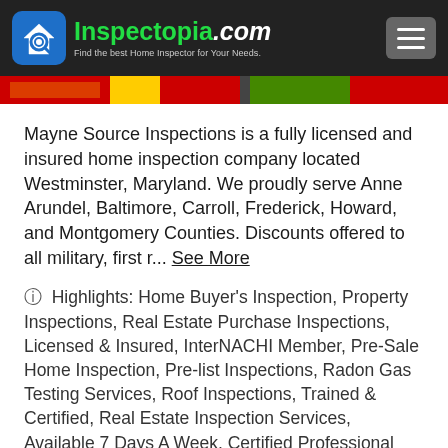Inspectopia.com — Find the best Home Inspector for Your Needs.
[Figure (photo): Partial image strip showing home inspection related images with red, yellow and green colors]
Mayne Source Inspections is a fully licensed and insured home inspection company located Westminster, Maryland. We proudly serve Anne Arundel, Baltimore, Carroll, Frederick, Howard, and Montgomery Counties. Discounts offered to all military, first r... See More
⊙ Highlights: Home Buyer's Inspection, Property Inspections, Real Estate Purchase Inspections, Licensed & Insured, InterNACHI Member, Pre-Sale Home Inspection, Pre-list Inspections, Radon Gas Testing Services, Roof Inspections, Trained & Certified, Real Estate Inspection Services, Available 7 Days A Week, Certified Professional Inspector, Interior Inspections, Residential Home Inspections,